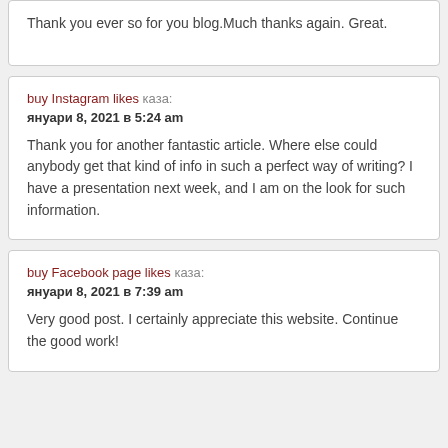Thank you ever so for you blog.Much thanks again. Great.
buy Instagram likes каза:
януари 8, 2021 в 5:24 am
Thank you for another fantastic article. Where else could anybody get that kind of info in such a perfect way of writing? I have a presentation next week, and I am on the look for such information.
buy Facebook page likes каза:
ануари 8, 2021 в 7:39 am
Very good post. I certainly appreciate this website. Continue the good work!